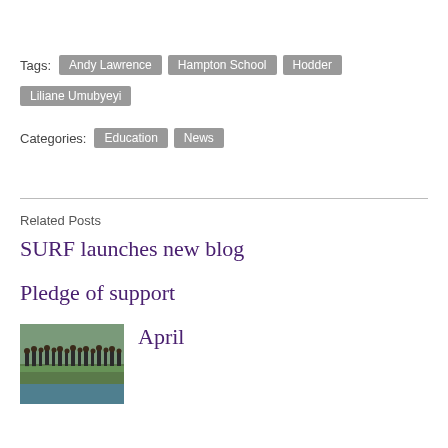Tags: Andy Lawrence   Hampton School   Hodder   Liliane Umubyeyi
Categories: Education   News
Related Posts
SURF launches new blog
Pledge of support
April
[Figure (photo): Photo of people gathered near water/riverbank, appears to be outdoor event]